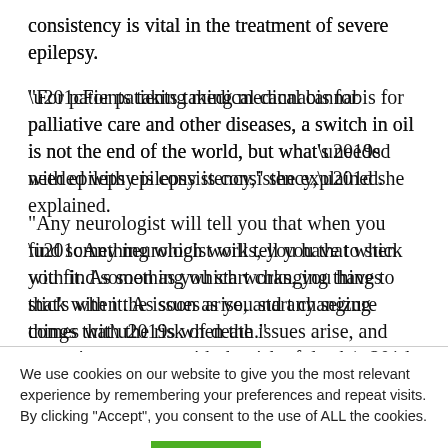consistency is vital in the treatment of severe epilepsy.
“For patients taking medical cannabis for palliative care and other diseases, a switch in oil is not the end of the world, but what’s needed with epilepsy is consistency,” she explained.
“Any neurologist will tell you that when you find something which works, you have to stick with it. As soon as you start changing things that’s when the issues arise, and any seizure comes with the risk of death.”
We use cookies on our website to give you the most relevant experience by remembering your preferences and repeat visits. By clicking “Accept”, you consent to the use of ALL the cookies.
Cookie settings  ACCEPT